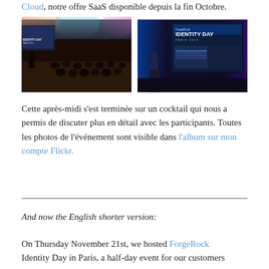Cloud, notre offre SaaS disponible depuis la fin Octobre.
[Figure (photo): Two event photos side by side from ForgeRock Identity Day in Paris. Left photo shows a conference room with audience seated and a speaker on stage with colorful lighting. Right photo shows a presenter on stage with a large 'IDENTITY DAY PARIS 2019' screen and a presentation slide visible.]
Cette après-midi s'est terminée sur un cocktail qui nous a permis de discuter plus en détail avec les participants. Toutes les photos de l'événement sont visible dans l'album sur mon compte Flickr.
And now the English shorter version:
On Thursday November 21st, we hosted ForgeRock Identity Day in Paris, a half-day event for our customers